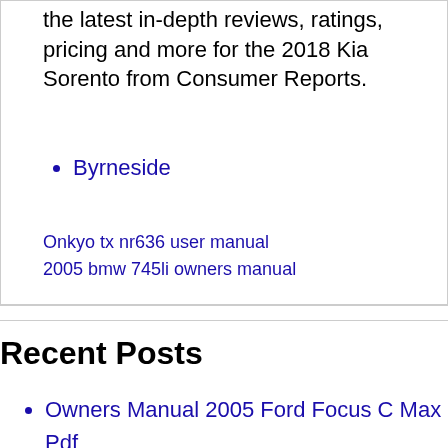the latest in-depth reviews, ratings, pricing and more for the 2018 Kia Sorento from Consumer Reports.
Byrneside
Onkyo tx nr636 user manual
2005 bmw 745li owners manual
Recent Posts
Owners Manual 2005 Ford Focus C Max Pdf
2006 Chevy Tahoe Owners Manual
Dell Studio 1737 User Manual